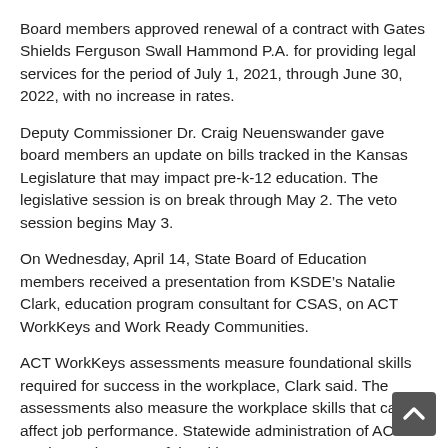Board members approved renewal of a contract with Gates Shields Ferguson Swall Hammond P.A. for providing legal services for the period of July 1, 2021, through June 30, 2022, with no increase in rates.
Deputy Commissioner Dr. Craig Neuenswander gave board members an update on bills tracked in the Kansas Legislature that may impact pre-k-12 education. The legislative session is on break through May 2. The veto session begins May 3.
On Wednesday, April 14, State Board of Education members received a presentation from KSDE’s Natalie Clark, education program consultant for CSAS, on ACT WorkKeys and Work Ready Communities.
ACT WorkKeys assessments measure foundational skills required for success in the workplace, Clark said. The assessments also measure the workplace skills that can affect job performance. Statewide administration of ACT WorkKeys is a powerful tool in